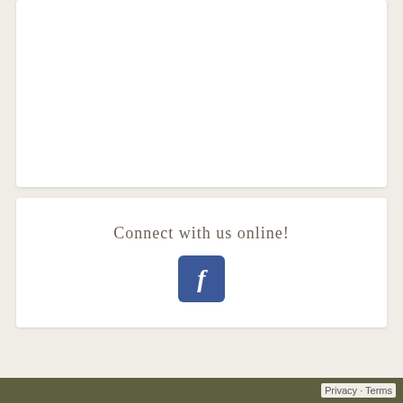[Figure (other): White card panel at top of page, empty content area]
Connect with us online!
[Figure (logo): Facebook icon button — blue rounded square with white letter f]
Privacy · Terms